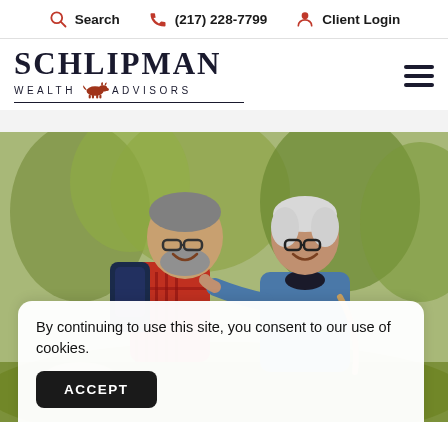Search   (217) 228-7799   Client Login
[Figure (logo): Schlipman Wealth Advisors logo with bull icon]
[Figure (photo): Older couple smiling at each other outdoors in a park, man wearing red plaid shirt and backpack, woman in denim jacket]
By continuing to use this site, you consent to our use of cookies.
ACCEPT